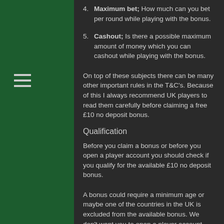4. Maximum bet; How much can you bet per round while playing with the bonus.
5. Cashout; Is there a possible maximum amount of money which you can cashout while playing with the bonus.
On top of these subjects there can be many other important rules in the T&C's. Because of this I always recommend UK players to read them carefully before claiming a free £10 no deposit bonus.
Qualification
Before you claim a bonus or before you open a player account you should check if you qualify for the available £10 no deposit bonus.
A bonus could require a minimum age or maybe one of the countries in the UK is excluded from the available bonus. We don't want you to open a player account and not